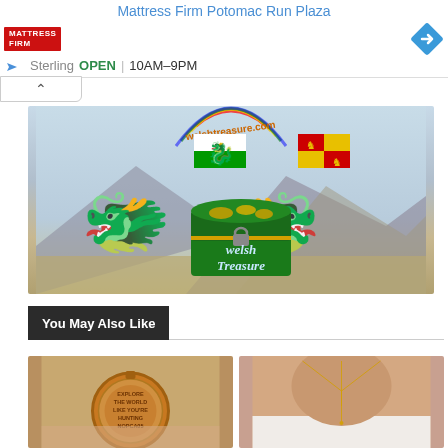Mattress Firm Potomac Run Plaza
Sterling  OPEN  10AM–9PM
[Figure (screenshot): Welsh Treasure website banner with two red Welsh dragons, Welsh flag, Scottish flag, rainbow, treasure chest, and welshtreasure.com URL on a mountain landscape background]
You May Also Like
[Figure (photo): Round bronze pocket watch/locket engraved with 'EXPLORE THE WORLD LIKE YOU'RE HUNTING NO-PLACE']
[Figure (photo): Close-up of a person's back/neck wearing a delicate gold Y-necklace against skin and white garment]